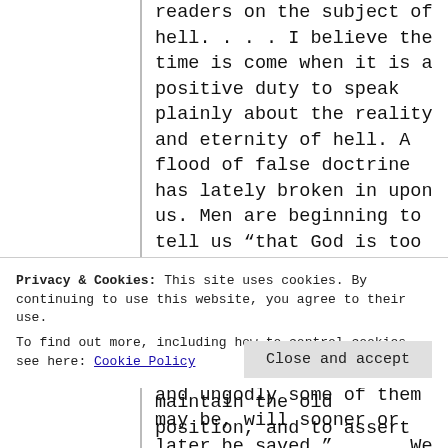readers on the subject of hell. . . . I believe the time is come when it is a positive duty to speak plainly about the reality and eternity of hell. A flood of false doctrine has lately broken in upon us. Men are beginning to tell us “that God is too merciful to punish souls for ever—that there is a love of God lower even than hell—and that all mankind, however wicked and ungodly some of them may be, will sooner or later be saved.”. . .  We are to embrace what is called a “kinder theology”. . . Against
Privacy & Cookies: This site uses cookies. By continuing to use this website, you agree to their use.
To find out more, including how to control cookies, see here: Cookie Policy
maintain the old position, and to assert